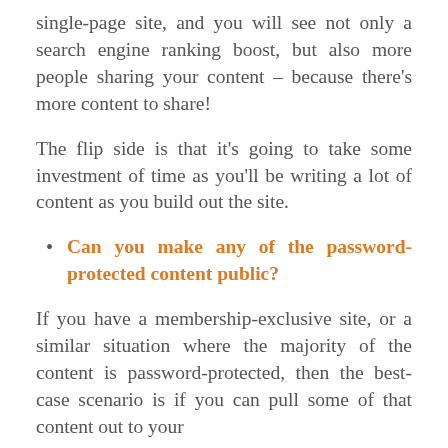single-page site, and you will see not only a search engine ranking boost, but also more people sharing your content – because there's more content to share!
The flip side is that it's going to take some investment of time as you'll be writing a lot of content as you build out the site.
Can you make any of the password-protected content public?
If you have a membership-exclusive site, or a similar situation where the majority of the content is password-protected, then the best-case scenario is if you can pull some of that content out to your